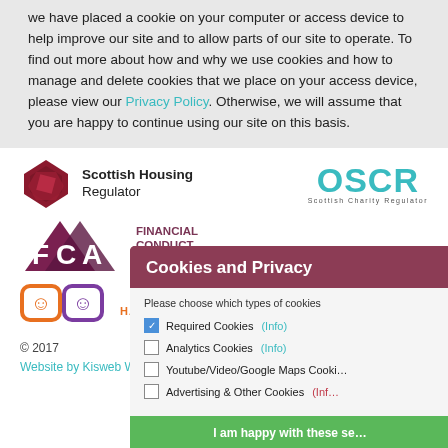we have placed a cookie on your computer or access device to help improve our site and to allow parts of our site to operate. To find out more about how and why we use cookies and how to manage and delete cookies that we place on your access device, please view our Privacy Policy.  Otherwise, we will assume that you are happy to continue using our site on this basis.
[Figure (logo): Scottish Housing Regulator logo with geometric red/maroon pentagon shape and bold text]
[Figure (logo): OSCR Scottish Charity Regulator logo in teal]
[Figure (logo): FCA Financial Conduct Authority logo in maroon/purple]
[Figure (logo): Happy to Translate logos in orange and purple]
© 2017
Website by Kisweb Web & App Dev
[Figure (screenshot): Cookies and Privacy overlay dialog with options: Required Cookies (checked), Analytics Cookies, Youtube/Video/Google Maps Cookies, Advertising & Other Cookies, with green accept button and grey Cookie Settings button]